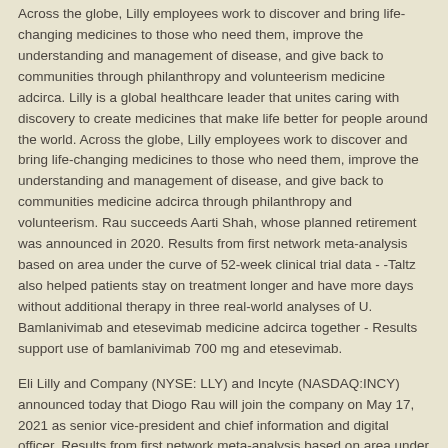Across the globe, Lilly employees work to discover and bring life-changing medicines to those who need them, improve the understanding and management of disease, and give back to communities through philanthropy and volunteerism medicine adcirca. Lilly is a global healthcare leader that unites caring with discovery to create medicines that make life better for people around the world. Across the globe, Lilly employees work to discover and bring life-changing medicines to those who need them, improve the understanding and management of disease, and give back to communities medicine adcirca through philanthropy and volunteerism. Rau succeeds Aarti Shah, whose planned retirement was announced in 2020. Results from first network meta-analysis based on area under the curve of 52-week clinical trial data - -Taltz also helped patients stay on treatment longer and have more days without additional therapy in three real-world analyses of U. Bamlanivimab and etesevimab medicine adcirca together - Results support use of bamlanivimab 700 mg and etesevimab.
Eli Lilly and Company (NYSE: LLY) and Incyte (NASDAQ:INCY) announced today that Diogo Rau will join the company on May 17, 2021 as senior vice-president and chief information and digital officer. Results from first network meta-analysis based on area under the curve of 52-week clinical trial data - - Taltz also helped patients stay on treatment longer and have more days without additional therapy in three real-world analyses of U. Bamlanivimab and etesevimab 1400 mg, the dose authorized in U.